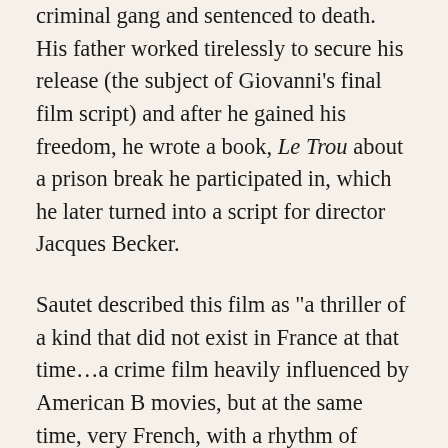criminal gang and sentenced to death. His father worked tirelessly to secure his release (the subject of Giovanni's final film script) and after he gained his freedom, he wrote a book, Le Trou about a prison break he participated in, which he later turned into a script for director Jacques Becker.
Sautet described this film as "a thriller of a kind that did not exist in France at that time...a crime film heavily influenced by American B movies, but at the same time, very French, with a rhythm of tenderness and violence" (Buss 102). Like many others, he was influenced in his directing by what was considered "good" literature, the novels of Faulkner and Dos Passos, as well as